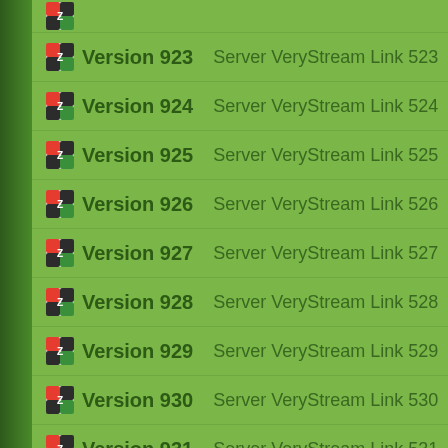Version 923  Server VeryStream Link 523
Version 924  Server VeryStream Link 524
Version 925  Server VeryStream Link 525
Version 926  Server VeryStream Link 526
Version 927  Server VeryStream Link 527
Version 928  Server VeryStream Link 528
Version 929  Server VeryStream Link 529
Version 930  Server VeryStream Link 530
Version 931  Server VeryStream Link 531
Version 932  Server VeryStream Link 532
Version 933  Server VeryStream Link 533